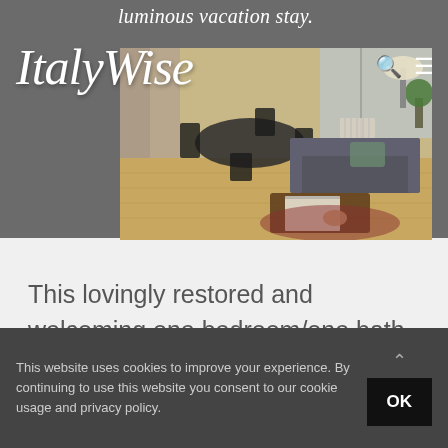luminous vacation stay.
Italy Wise
[Figure (photo): Interior of a vacation apartment showing a living/dining area with wooden floors, dark dining chairs, a sofa, and a coffee table with a book. Natural light from windows in the background.]
This lovingly restored and welcoming one bedroom/one bath is right in the city center or Oneglia, Imperia, and
This website uses cookies to improve your experience. By continuing to use this website you consent to our cookie usage and privacy policy.